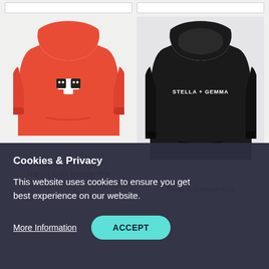[Figure (photo): Orange/coral kids hoodie with black cat and white cross graphic on front, hanging on wooden hanger, white/light grey background]
Stella + Gemma Kids Hanna Cats Hoodie Hot Coral
[Figure (photo): Black kids hoodie with 'Stella + Gemma' text logo on chest, hanging on wooden hanger, light grey background]
Stella + Gemma Kids Hanna Hoodie Black Camo Logo
Cookies & Privacy
This website uses cookies to ensure you get best experience on our website.
More Information
ACCEPT